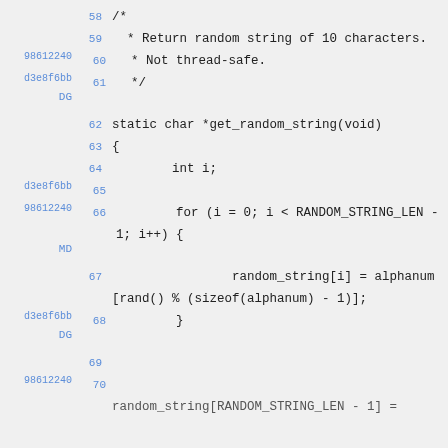58    /*
59      * Return random string of 10 characters.
60    * Not thread-safe.
61      */
62    static char *get_random_string(void)
63    {
64            int i;
65
66            for (i = 0; i < RANDOM_STRING_LEN - 1; i++) {
67                    random_string[i] = alphanum[rand() % (sizeof(alphanum) - 1)];
68              }
69
70    random_string[RANDOM_STRING_LEN - 1] =